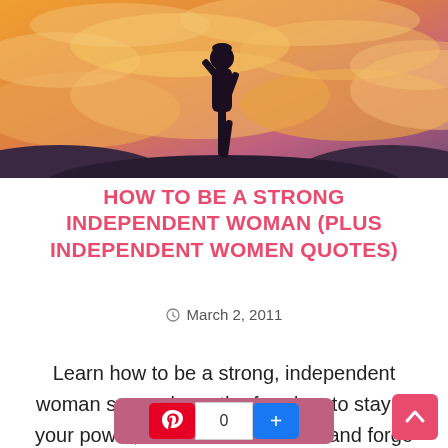[Figure (photo): Silhouette of a woman standing with one arm raised against a dramatic orange and purple sunset sky with clouds and hills in the background.]
HOW TO BE A STRONG INDEPENDENT WOMAN (PLUS INDEPENDENT WOMEN QUOTES)
March 2, 2011
Learn how to be a strong, independent woman so you have the freedom to stay in your power, make better choices and forge your own path to happiness.